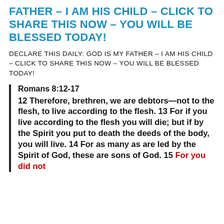FATHER – I AM HIS CHILD – CLICK TO SHARE THIS NOW – YOU WILL BE BLESSED TODAY!
DECLARE THIS DAILY: GOD IS MY FATHER – I AM HIS CHILD – CLICK TO SHARE THIS NOW – YOU WILL BE BLESSED TODAY!
Romans 8:12-17
12 Therefore, brethren, we are debtors—not to the flesh, to live according to the flesh. 13 For if you live according to the flesh you will die; but if by the Spirit you put to death the deeds of the body, you will live. 14 For as many as are led by the Spirit of God, these are sons of God. 15 For you did not